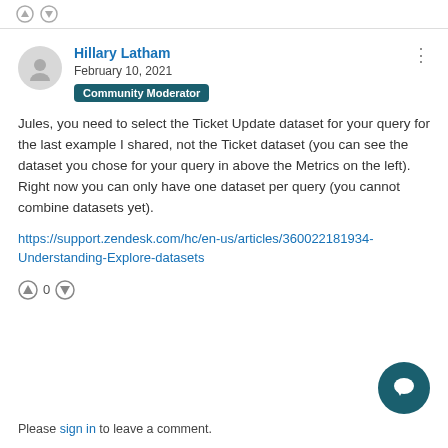[Figure (other): Up/down vote icons at the top of the page]
Hillary Latham
February 10, 2021
Community Moderator
Jules, you need to select the Ticket Update dataset for your query for the last example I shared, not the Ticket dataset (you can see the dataset you chose for your query in above the Metrics on the left).  Right now you can only have one dataset per query (you cannot combine datasets yet).
https://support.zendesk.com/hc/en-us/articles/360022181934-Understanding-Explore-datasets
0
Please sign in to leave a comment.